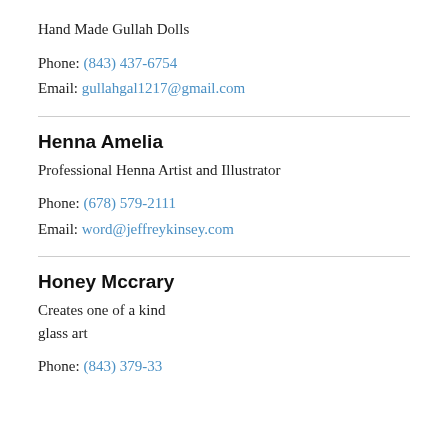Hand Made Gullah Dolls
Phone: (843) 437-6754
Email: gullahgal1217@gmail.com
Henna Amelia
Professional Henna Artist and Illustrator
Phone: (678) 579-2111
Email: word@jeffreykinsey.com
Honey Mccrary
Creates one of a kind glass art
Phone: (843) 379-3343